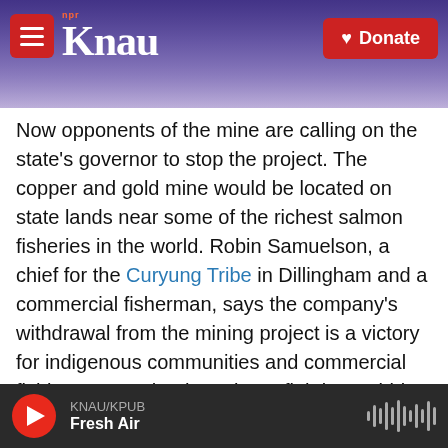[Figure (screenshot): KNAU NPR radio station website header with logo and donate button on a purple mountain background]
Now opponents of the mine are calling on the state's governor to stop the project. The copper and gold mine would be located on state lands near some of the richest salmon fisheries in the world. Robin Samuelson, a chief for the Curyung Tribe in Dillingham and a commercial fisherman, says the company's withdrawal from the mining project is a victory for indigenous communities and commercial fishing groups that have been fighting Pebble Mine for years.
"But I think the governor has the right to cancel [the] leases and I think now is the prime time," says
KNAU/KPUB  Fresh Air